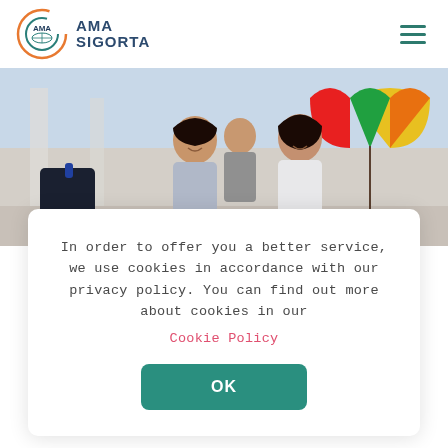[Figure (logo): AMA Sigorta logo with circular orange/teal emblem and company name in navy blue]
[Figure (photo): Happy family of three (man, young girl, woman) smiling at an airport terminal with a colorful umbrella visible on the right side]
In order to offer you a better service, we use cookies in accordance with our privacy policy. You can find out more about cookies in our
Cookie Policy
OK